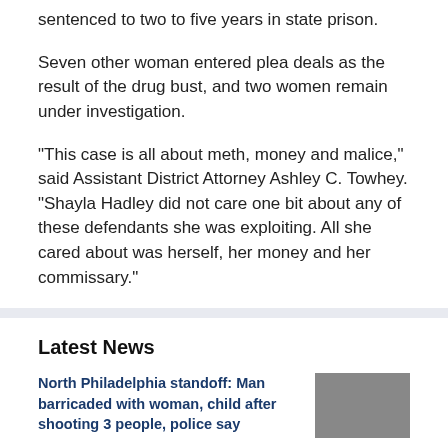sentenced to two to five years in state prison.
Seven other woman entered plea deals as the result of the drug bust, and two women remain under investigation.
"This case is all about meth, money and malice," said Assistant District Attorney Ashley C. Towhey. "Shayla Hadley did not care one bit about any of these defendants she was exploiting. All she cared about was herself, her money and her commissary."
Latest News
North Philadelphia standoff: Man barricaded with woman, child after shooting 3 people, police say